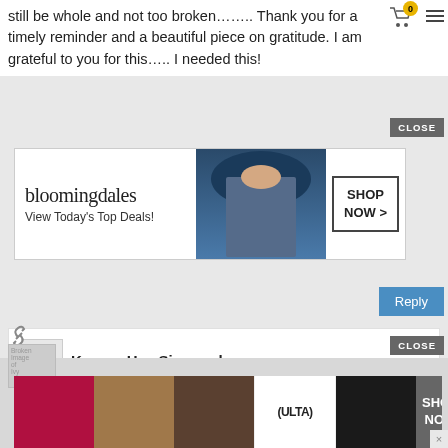still be whole and not too broken…….. Thank you for a timely reminder and a beautiful piece on gratitude. I am grateful to you for this….. I needed this!
[Figure (screenshot): Bloomingdales advertisement banner with logo, 'View Today's Top Deals!' tagline, model photo, and 'SHOP NOW >' button]
Karen - Hey Sigmund
March 19th, 2017
Thanks Ivy. I'm so pleased this was helpful for you.
[Figure (screenshot): Ulta Beauty advertisement banner with makeup product images, Ulta logo, and 'SHOP NOW' button]